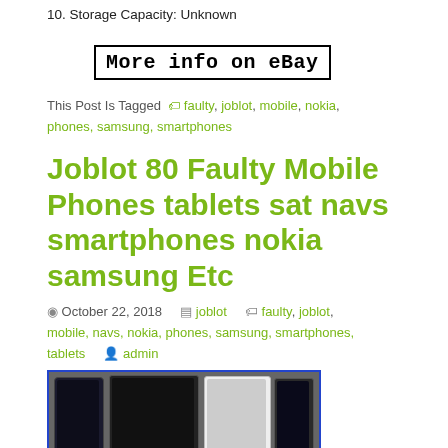10. Storage Capacity: Unknown
[Figure (screenshot): Button/link box with text 'More info on eBay' in monospace bold font, surrounded by a black border rectangle]
This Post Is Tagged  faulty, joblot, mobile, nokia, phones, samsung, smartphones
Joblot 80 Faulty Mobile Phones tablets sat navs smartphones nokia samsung Etc
October 22, 2018   joblot   faulty, joblot, mobile, navs, nokia, phones, samsung, smartphones, tablets   admin
[Figure (photo): Photo of multiple faulty mobile phones and tablets arranged together, showing various smartphone screens facing up, with a blue border around the image]